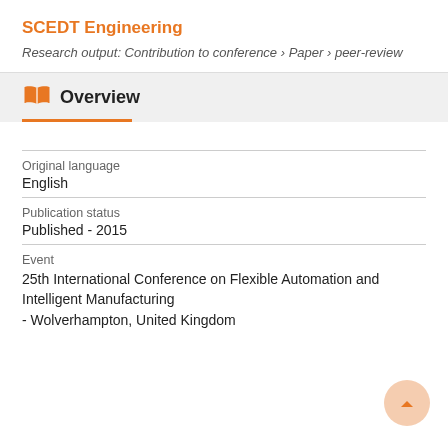SCEDT Engineering
Research output: Contribution to conference › Paper › peer-review
Overview
Original language
English
Publication status
Published - 2015
Event
25th International Conference on Flexible Automation and Intelligent Manufacturing - Wolverhampton, United Kingdom